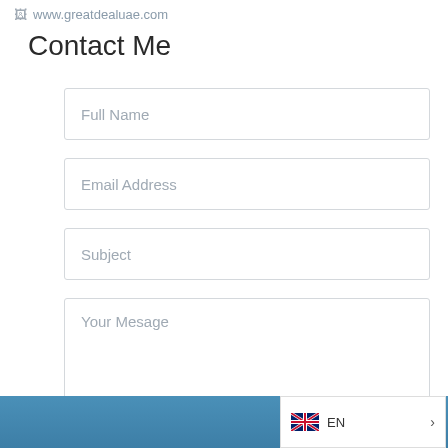www.greatdealuae.com
Contact Me
Full Name
Email Address
Subject
Your Mesage
SEND
EN